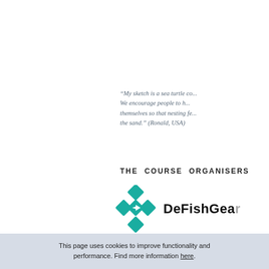“My sketch is a sea turtle co... We encourage people to h... themselves so that nesting fe... the sand.” (Ronald, USA)
THE COURSE ORGANISERS
[Figure (logo): DeFishGear logo: teal/turquoise diamond-shaped fish gear icon with white fish silhouette, followed by the text DeFishGea...]
This page uses cookies to improve functionality and performance. Find more information here.